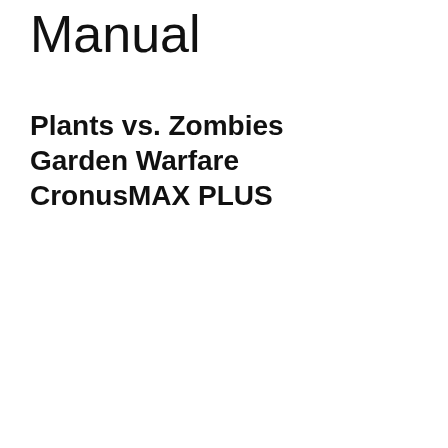Manual
Plants vs. Zombies Garden Warfare CronusMAX PLUS
[Figure (screenshot): YouTube video thumbnail for 'Plants vs. Zombies Battle f...' showing colorful game characters including a large mushroom in center, with YouTube play button overlay and channel avatar in top bar.]